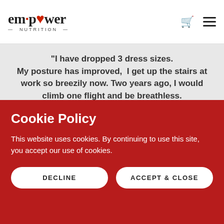em·power NUTRITION
"I have dropped 3 dress sizes. My posture has improved, I get up the stairs at work so breezily now. Two years ago, I would climb one flight and be breathless. I am so proud of how much I have achieved. It wasn't about what I lost but all about what I gained: my self respect, the belief that I am valuable, more energy to be an enthusiastic teacher, a loving mom and wife and a
Cookie Policy
This website uses cookies. By continuing to use this site, you accept our use of cookies.
DECLINE
ACCEPT & CLOSE